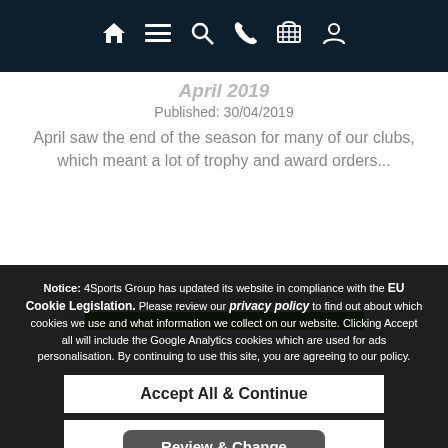Navigation bar with icons: home, menu, search, phone, cart, account
April 2019
Published: 30/04/2019
April saw the end of the season for many of our clubs, which meant a lot of trophy and award orders...
[Figure (screenshot): Partial thumbnail of a webpage showing navigation links and content]
Notice: 4Sports Group has updated its website in compliance with the EU Cookie Legislation. Please review our privacy policy to find out about which cookies we use and what information we collect on our website. Clicking Accept all will include the Google Analytics cookies which are used for ads personalisation. By continuing to use this site, you are agreeing to our policy.
Accept All & Continue
Review & Change